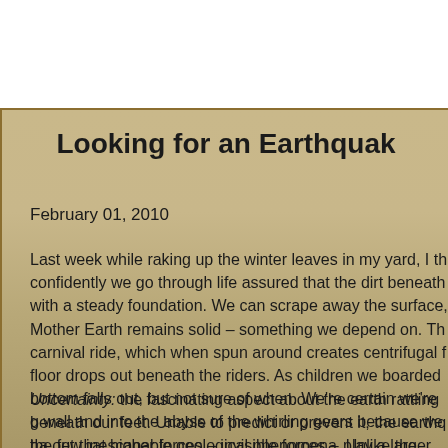Looking for an Earthquak
February 01, 2010
Last week while raking up the winter leaves in my yard, I th confidently we go through life assured that the dirt beneath with a steady foundation. We can scrape away the surface, Mother Earth remains solid – something we depend on. Th carnival ride, which when spun around creates centrifugal f floor drops out beneath the riders. As children we boarded bottom falls out, but not sure of when. We're certain we're g wall and into the abyss of the whirling gears because we ha out that higher forces – invisible forces – play a larger role imagined.
Uncertainty: the fascinating aspect about the earth rattling beneath our feet. Unable to predict or prevent it, the earthq the few inescapable geological phenomena. Unlike the wea